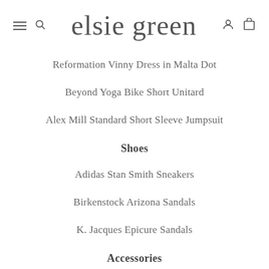elsie green
Reformation Vinny Dress in Malta Dot
Beyond Yoga Bike Short Unitard
Alex Mill Standard Short Sleeve Jumpsuit
Shoes
Adidas Stan Smith Sneakers
Birkenstock Arizona Sandals
K. Jacques Epicure Sandals
Accessories